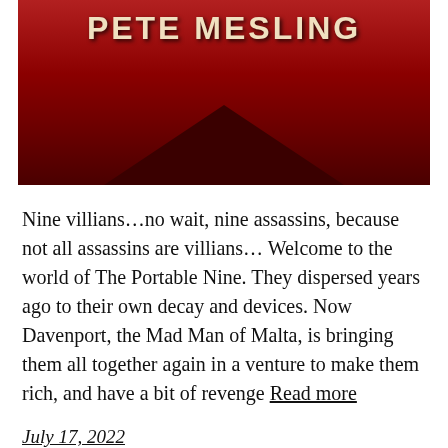[Figure (illustration): Book cover showing author name PETE MESLING in bold cream/white letters on a red background with a dark triangular shape at the bottom]
Nine villians…no wait, nine assassins, because not all assassins are villians… Welcome to the world of The Portable Nine. They dispersed years ago to their own decay and devices. Now Davenport, the Mad Man of Malta, is bringing them all together again in a venture to make them rich, and have a bit of revenge Read more
July 17, 2022